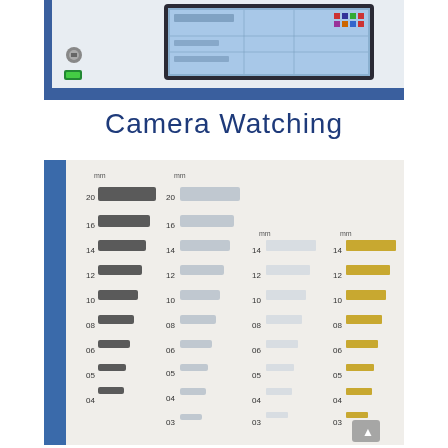[Figure (photo): Close-up photo of an industrial control panel with a touchscreen display showing a graphical interface, mounted on a white/grey unit with a blue border. A key switch and green indicator are visible on the left side.]
Camera Watching
[Figure (photo): Photo showing a sample board/display rack with multiple rows of cutting tool segments or wear segments arranged in columns, labeled with millimeter measurements (20, 16, 14, 12, 10, 08, 06, 05, 04, 03 mm). Three columns show segments in different materials/finishes: dark grey/black, silver/polished, and gold-colored, mounted on a white board with a blue frame on the left side.]